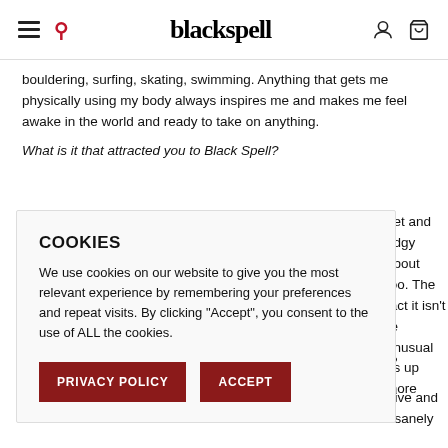blackspell
bouldering, surfing, skating, swimming. Anything that gets me physically using my body always inspires me and makes me feel awake in the world and ready to take on anything.
What is it that attracted you to Black Spell?
eet and edgy about too. The fact it isn't re unusual ns up more
?
ective and insanely
COOKIES
We use cookies on our website to give you the most relevant experience by remembering your preferences and repeat visits. By clicking "Accept", you consent to the use of ALL the cookies.
PRIVACY POLICY
ACCEPT